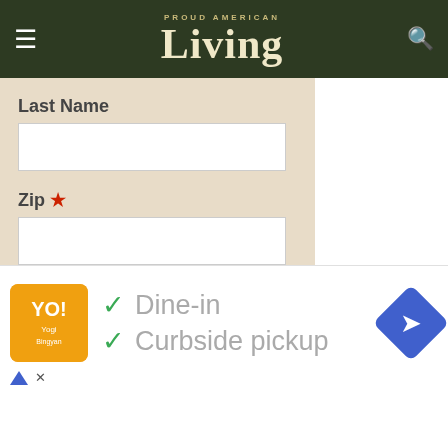Proud American Living
Last Name
Zip *
I Agree
* Required
[Figure (photo): Close-up photo of an elderly man with long gray hair and white beard, looking off to the side]
[Figure (screenshot): Bottom advertisement bar showing Yogi restaurant logo with Dine-in and Curbside pickup options and a blue navigation icon]